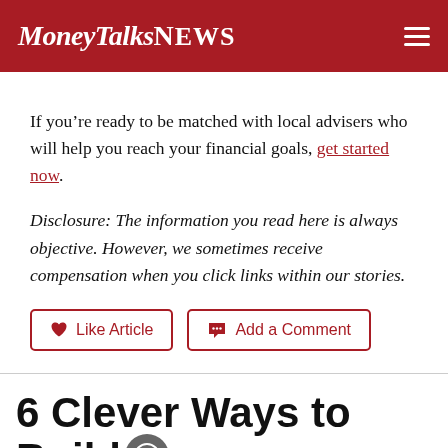MoneyTalksNews
If you’re ready to be matched with local advisers who will help you reach your financial goals, get started now.
Disclosure: The information you read here is always objective. However, we sometimes receive compensation when you click links within our stories.
[Figure (other): Two buttons: 'Like Article' with heart icon and 'Add a Comment' with speech bubble icon, styled with red border]
6 Clever Ways to Build Wealth Outside the